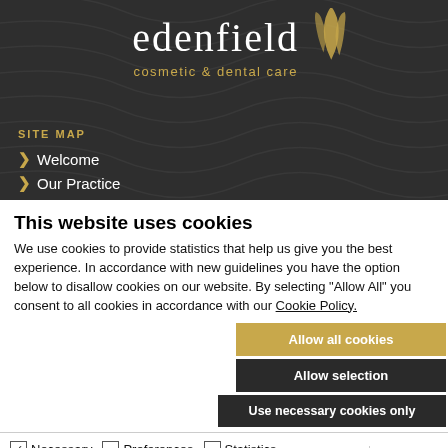[Figure (logo): Edenfield cosmetic & dental care logo with golden leaf/flower icon on dark textured background with wave pattern]
SITE MAP
Welcome
Our Practice
This website uses cookies
We use cookies to provide statistics that help us give you the best experience. In accordance with new guidelines you have the option below to disallow cookies on our website. By selecting "Allow All" you consent to all cookies in accordance with our Cookie Policy.
Allow all cookies
Allow selection
Use necessary cookies only
Necessary  Preferences  Statistics  Marketing  Show details